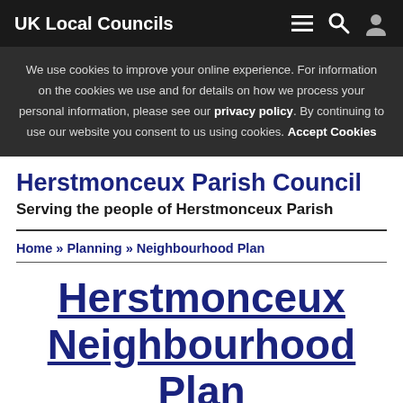UK Local Councils
We use cookies to improve your online experience. For information on the cookies we use and for details on how we process your personal information, please see our privacy policy. By continuing to use our website you consent to us using cookies. Accept Cookies
Herstmonceux Parish Council
Serving the people of Herstmonceux Parish
Home » Planning » Neighbourhood Plan
Herstmonceux Neighbourhood Plan 2017 - 2027